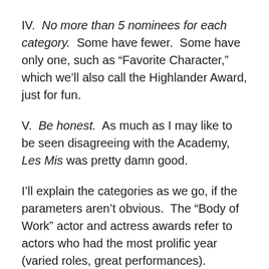IV.  No more than 5 nominees for each category.  Some have fewer.  Some have only one, such as “Favorite Character,” which we’ll also call the Highlander Award, just for fun.
V.  Be honest.  As much as I may like to be seen disagreeing with the Academy, Les Mis was pretty damn good.
I’ll explain the categories as we go, if the parameters aren’t obvious.  The “Body of Work” actor and actress awards refer to actors who had the most prolific year (varied roles, great performances).  2011’s winner was, of course, Jessica Chastain, with seven major roles and no equal in performance and character assortment.
Some categories have several nominees.  Some don’t.